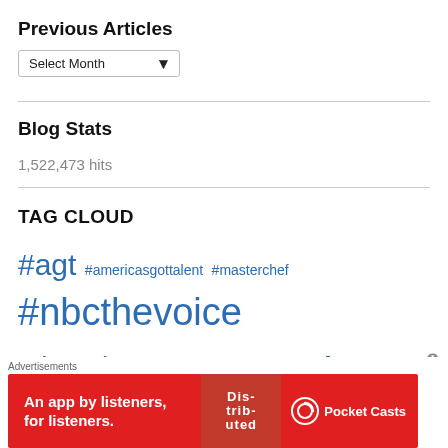Previous Articles
Select Month
Blog Stats
1,522,473 hits
TAG CLOUD
#agt #americasgottalent #masterchef #nbcthevoice
#thevoice ABC Adam Lambert Adam Levine Amber Holcomb
[Figure (screenshot): Advertisement banner for Pocket Casts app: red background with text 'An app by listeners, for listeners.' and Pocket Casts logo]
Advertisements